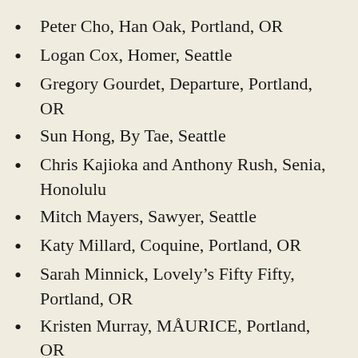Peter Cho, Han Oak, Portland, OR
Logan Cox, Homer, Seattle
Gregory Gourdet, Departure, Portland, OR
Sun Hong, By Tae, Seattle
Chris Kajioka and Anthony Rush, Senia, Honolulu
Mitch Mayers, Sawyer, Seattle
Katy Millard, Coquine, Portland, OR
Sarah Minnick, Lovely’s Fifty Fifty, Portland, OR
Kristen Murray, MÅURICE, Portland, OR
Keiji Nakazawa, Sushi Sho, Waikiki Beach, HI
Ryan Roadhouse, Nodoguro, Portland, OR
Beau Schooler, In Bocca Al Lupo, Juneau, AK
Sheldon Simeon, Lineage, Wailea, HI
Mutsuko Soma, Kamonegi, Seattle
Naoko Tamura, Shizuku, Portland, OR